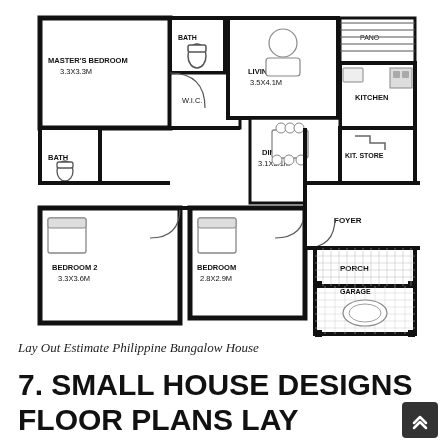[Figure (schematic): Floor plan of a Philippine bungalow house showing Master's Bedroom (3.3x3.3M), Bedroom 2 (3.3x3.6M), Bedroom 3 (2.8x2.9M), Bath, W.I.C., Living Area (3.5x4.1M), Dining (3.1x3.1M), Kitchen, Kitchen Store, Foyer, Porch, and Garage areas with car outline.]
Lay Out Estimate Philippine Bungalow House
7. SMALL HOUSE DESIGNS FLOOR PLANS LAY